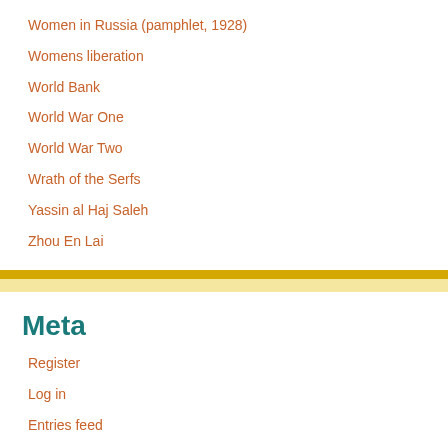Women in Russia (pamphlet, 1928)
Womens liberation
World Bank
World War One
World War Two
Wrath of the Serfs
Yassin al Haj Saleh
Zhou En Lai
Meta
Register
Log in
Entries feed
Comments feed